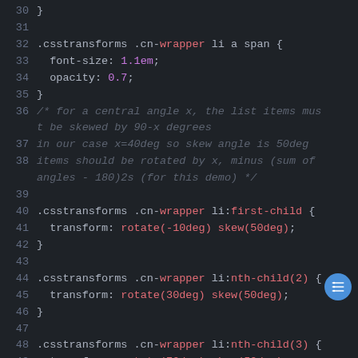[Figure (screenshot): Code editor screenshot showing CSS code with syntax highlighting, dark theme. Lines 30-52 visible. Shows CSS selectors with .csstransforms .cn-wrapper patterns and transform/skew properties.]